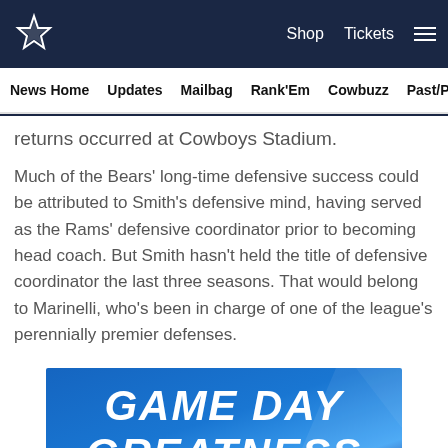Dallas Cowboys navigation bar with logo, Shop, Tickets, and hamburger menu
News Home | Updates | Mailbag | Rank'Em | Cowbuzz | Past/Pres
returns occurred at Cowboys Stadium.
Much of the Bears' long-time defensive success could be attributed to Smith's defensive mind, having served as the Rams' defensive coordinator prior to becoming head coach. But Smith hasn't held the title of defensive coordinator the last three seasons. That would belong to Marinelli, who's been in charge of one of the league's perennially premier defenses.
[Figure (infographic): Blue banner advertisement reading GAME DAY GREATNESS in large bold white text]
[Figure (infographic): Social sharing icons: Facebook, Twitter, Email, and a link/chain icon, arranged in a horizontal row with circular borders]